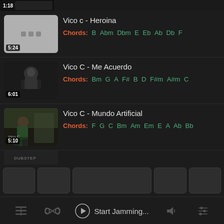[Figure (screenshot): Partially visible video thumbnail at top]
[Figure (screenshot): Vico c - Heroina video thumbnail with time 5:24, gray placeholder with dots]
Vico c - Heroina
Chords: B Abm Dbm E Eb Ab Db F
[Figure (screenshot): Vico C - Me Acuerdo video thumbnail, performer in dark setting, time 6:01]
Vico C - Me Acuerdo
Chords: Bm G A F# B D F#m A#m C
[Figure (screenshot): Vico C - Mundo Artificial video thumbnail, person sitting, time 5:10]
Vico C - Mundo Artificial
Chords: F G C Bm Am Em E A Ab Bb
Start Jamming...